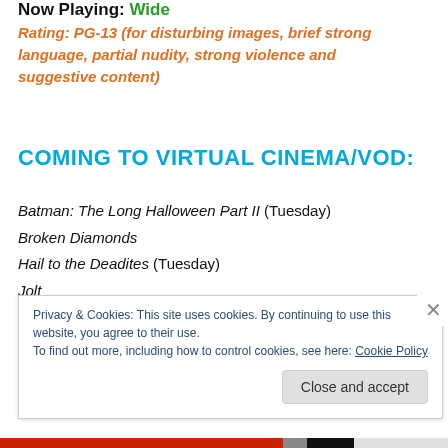Now Playing: Wide
Rating: PG-13 (for disturbing images, brief strong language, partial nudity, strong violence and suggestive content)
COMING TO VIRTUAL CINEMA/VOD:
Batman: The Long Halloween Part II (Tuesday)
Broken Diamonds
Hail to the Deadites (Tuesday)
Jolt
Privacy & Cookies: This site uses cookies. By continuing to use this website, you agree to their use. To find out more, including how to control cookies, see here: Cookie Policy
Close and accept